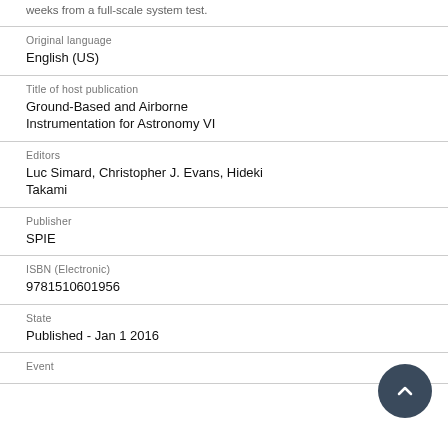weeks from a full-scale system test.
Original language
English (US)
Title of host publication
Ground-Based and Airborne Instrumentation for Astronomy VI
Editors
Luc Simard, Christopher J. Evans, Hideki Takami
Publisher
SPIE
ISBN (Electronic)
9781510601956
State
Published - Jan 1 2016
Event